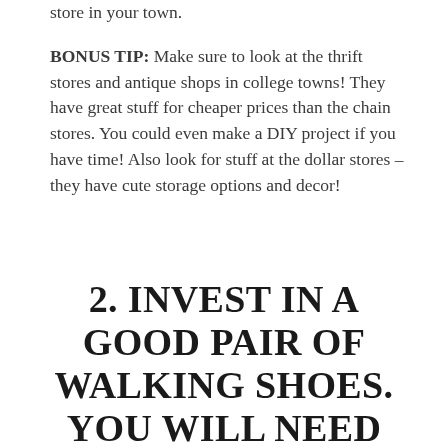store in your town.
BONUS TIP: Make sure to look at the thrift stores and antique shops in college towns! They have great stuff for cheaper prices than the chain stores. You could even make a DIY project if you have time! Also look for stuff at the dollar stores – they have cute storage options and decor!
2. INVEST IN A GOOD PAIR OF WALKING SHOES. YOU WILL NEED